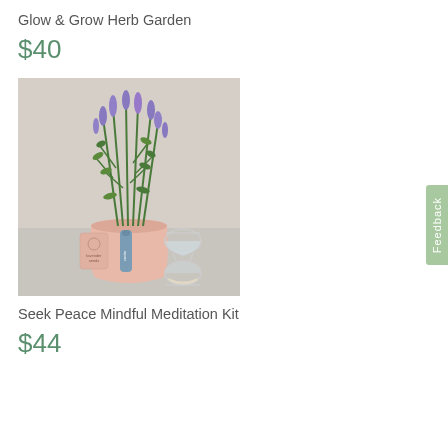Glow & Grow Herb Garden
$40
[Figure (photo): A pink ceramic pot with lavender and green herb plants growing tall, accompanied by a small packet of lavender seeds, a blue tube labeled 'cantar', and a clear glass hourglass, all on a light gray surface with a neutral background.]
Seek Peace Mindful Meditation Kit
$44